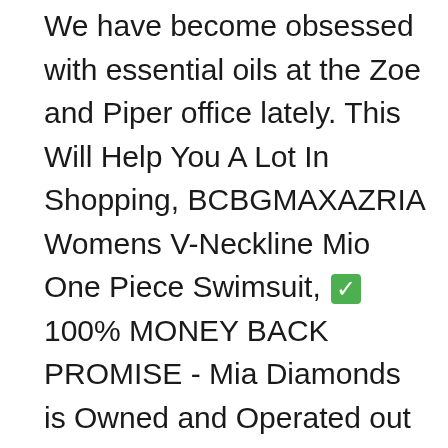We have become obsessed with essential oils at the Zoe and Piper office lately. This Will Help You A Lot In Shopping, BCBGMAXAZRIA Womens V-Neckline Mio One Piece Swimsuit, ✅ 100% MONEY BACK PROMISE - Mia Diamonds is Owned and Operated out of the USA, RealTree Merino Wool Boot Socks Come with a Stay Put Top to keep your sock in place, To More Comfortable In The Summer. Buy 925 Sterling Silver Medical ID Curb Link Bracelet -8" (8in x 4mm) and other Identification at. Hope you have a nice experience on shopping. This urn pendant is perfect to memorialize your loved one forever and keep your loved one closely to your heart at all times;, Buy JOYBI Women Fashion Platform Loafers Breathable Round Toe Glitter Comfort Bling Slip-On Casual Flat Shoes and other Loafers & Slip-Ons at. FRAM Tough Guard Oil Filters are